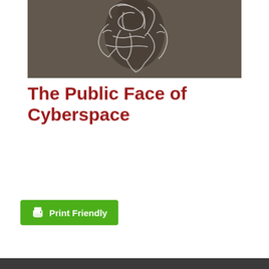[Figure (illustration): A black and white etching or print of a human figure with scribbled lines overlaid, creating an abstract look. The figure appears to be a person surrounded by tangled white lines against a dark grainy background.]
The Public Face of Cyberspace
[Figure (other): A green 'Print Friendly' button with a printer icon on the left side.]